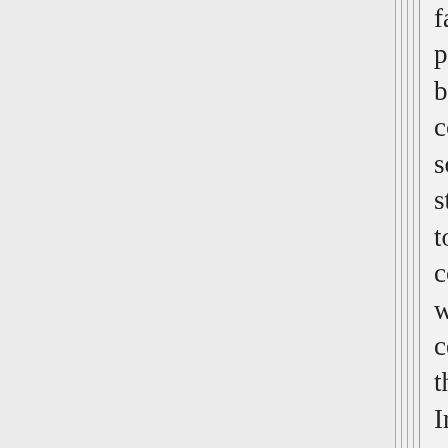fascinated by those past events that can be seen as a complete cycle: something that started and arrived to some kind of conclusion. One is whaling in 19th century, another is the great famine in Ireland; there are other cases: I am sure that Gibbon and Tonybee (among may others) felt the same kind of fascination for the completed cycle of the